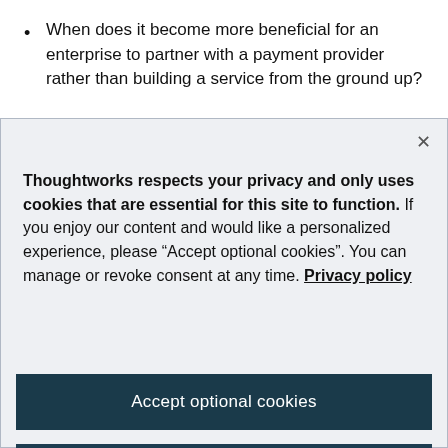When does it become more beneficial for an enterprise to partner with a payment provider rather than building a service from the ground up?
Thoughtworks respects your privacy and only uses cookies that are essential for this site to function. If you enjoy our content and would like a personalized experience, please “Accept optional cookies”. You can manage or revoke consent at any time. Privacy policy
Accept optional cookies
Manage preferences